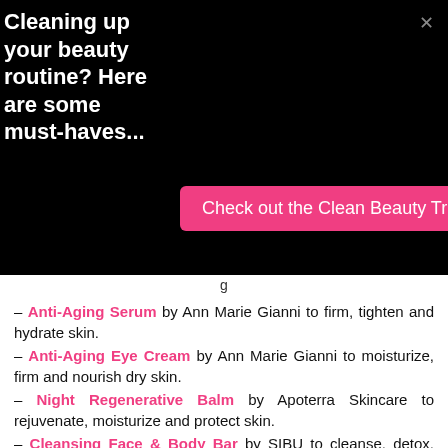Cleaning up your beauty routine? Here are some must-haves...
Check out the Clean Beauty Trial Set
– Anti-Aging Serum by Ann Marie Gianni to firm, tighten and hydrate skin.
– Anti-Aging Eye Cream by Ann Marie Gianni to moisturize, firm and nourish dry skin.
– Night Regenerative Balm by Apoterra Skincare to rejuvenate, moisturize and protect skin.
– Cleansing Face & Body Bar by SIBU to cleanse, detox, moisturize and repair skin.